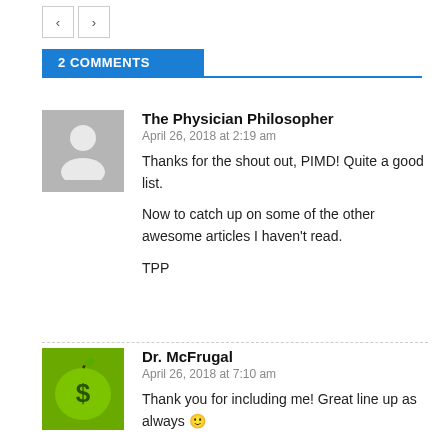< >
2 COMMENTS
The Physician Philosopher
April 26, 2018 at 2:19 am

Thanks for the shout out, PIMD! Quite a good list.

Now to catch up on some of the other awesome articles I haven't read.

TPP
Dr. McFrugal
April 26, 2018 at 7:10 am

Thank you for including me! Great line up as always 🙂